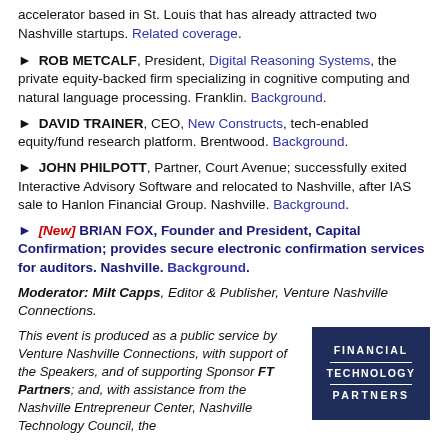accelerator based in St. Louis that has already attracted two Nashville startups. Related coverage.
► ROB METCALF, President, Digital Reasoning Systems, the private equity-backed firm specializing in cognitive computing and natural language processing. Franklin. Background.
► DAVID TRAINER, CEO, New Constructs, tech-enabled equity/fund research platform. Brentwood. Background.
► JOHN PHILPOTT, Partner, Court Avenue; successfully exited Interactive Advisory Software and relocated to Nashville, after IAS sale to Hanlon Financial Group. Nashville. Background.
► [New] BRIAN FOX, Founder and President, Capital Confirmation; provides secure electronic confirmation services for auditors. Nashville. Background.
Moderator: Milt Capps, Editor & Publisher, Venture Nashville Connections.
This event is produced as a public service by Venture Nashville Connections, with support of the Speakers, and of supporting Sponsor FT Partners; and, with assistance from the Nashville Entrepreneur Center, Nashville Technology Council, the
[Figure (logo): Financial Technology Partners logo on dark navy background with white text and horizontal rules]